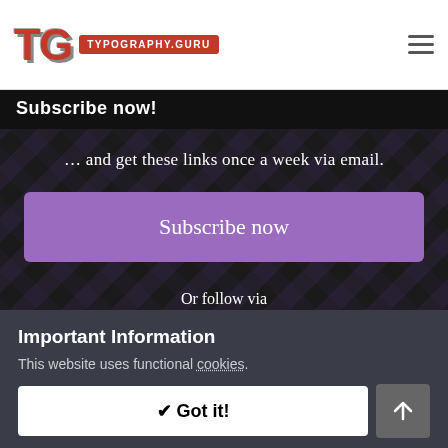TG TYPOGRAPHY.GURU
Subscribe now!
… and get these links once a week via email.
Subscribe now
Or follow via
RSS | Feedly | Twitter
Important Information
This website uses functional cookies.
✔ Got it!